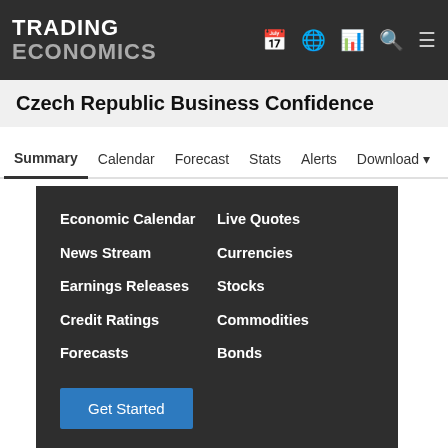TRADING ECONOMICS
Czech Republic Business Confidence
Summary
Calendar
Forecast
Stats
Alerts
Download
Economic Calendar
Live Quotes
News Stream
Currencies
Earnings Releases
Stocks
Credit Ratings
Commodities
Forecasts
Bonds
Get Started
We Are Hiring
Trading Economics welcomes candidates from